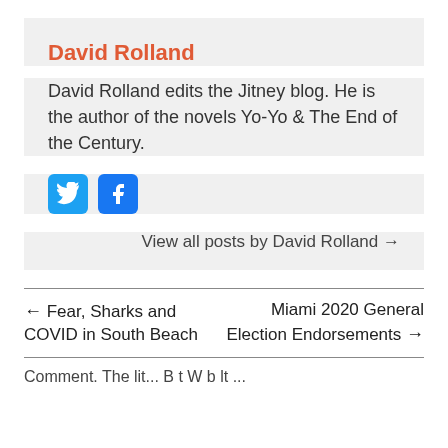David Rolland
David Rolland edits the Jitney blog. He is the author of the novels Yo-Yo & The End of the Century.
[Figure (other): Twitter and Facebook social media icons (blue rounded square buttons)]
View all posts by David Rolland →
← Fear, Sharks and COVID in South Beach
Miami 2020 General Election Endorsements →